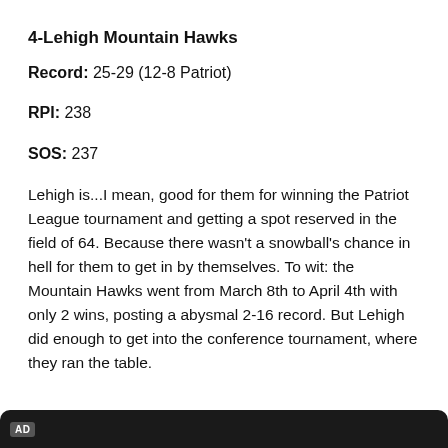4-Lehigh Mountain Hawks
Record: 25-29 (12-8 Patriot)
RPI: 238
SOS: 237
Lehigh is...I mean, good for them for winning the Patriot League tournament and getting a spot reserved in the field of 64. Because there wasn't a snowball's chance in hell for them to get in by themselves. To wit: the Mountain Hawks went from March 8th to April 4th with only 2 wins, posting a abysmal 2-16 record. But Lehigh did enough to get into the conference tournament, where they ran the table.
[Figure (other): AD advertisement bar at bottom of page]